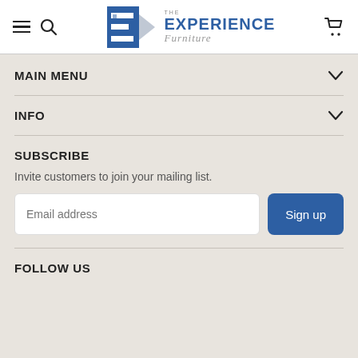[Figure (logo): The Experience Furniture logo with stylized E and arrow]
MAIN MENU
INFO
SUBSCRIBE
Invite customers to join your mailing list.
FOLLOW US